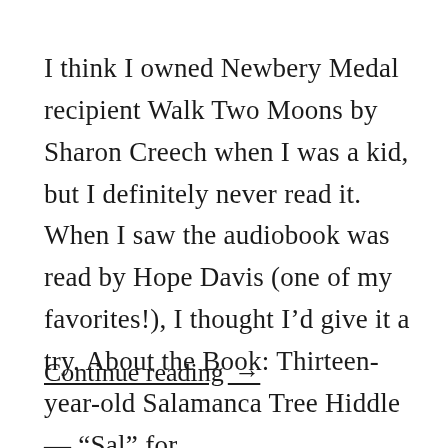I think I owned Newbery Medal recipient Walk Two Moons by Sharon Creech when I was a kid, but I definitely never read it. When I saw the audiobook was read by Hope Davis (one of my favorites!), I thought I’d give it a try. About the Book: Thirteen-year-old Salamanca Tree Hiddle — “Sal” for …
Continue reading →